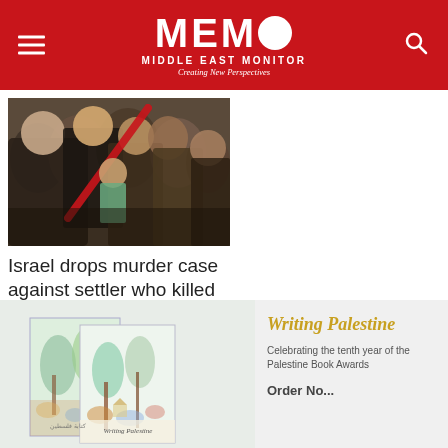MEMO MIDDLE EAST MONITOR - Creating New Perspectives
[Figure (photo): Group of people in an emotional embrace, news photo]
Israel drops murder case against settler who killed Palestinian
August 26, 2022
[Figure (photo): Writing Palestine book covers displayed, two copies visible with colorful illustrated covers]
Writing Palestine
Celebrating the tenth year of the Palestine Book Awards